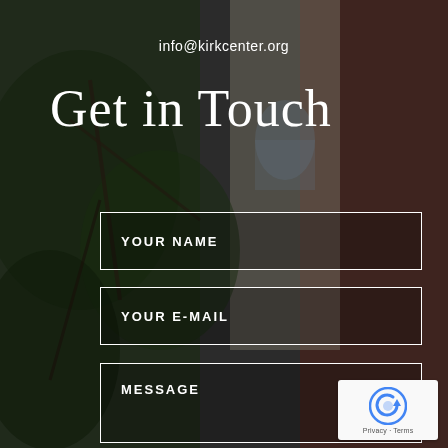[Figure (photo): Outdoor photo background showing trees with green leaves, brick building facade, and stone architectural elements. Dark overlay applied.]
info@kirkcenter.org
Get in Touch
YOUR NAME
YOUR E-MAIL
MESSAGE
[Figure (other): reCAPTCHA widget showing the circular arrow logo with Privacy and Terms text]